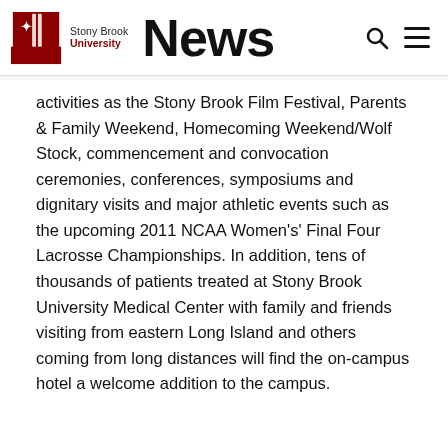Stony Brook University News
activities as the Stony Brook Film Festival, Parents & Family Weekend, Homecoming Weekend/Wolf Stock, commencement and convocation ceremonies, conferences, symposiums and dignitary visits and major athletic events such as the upcoming 2011 NCAA Women's' Final Four Lacrosse Championships. In addition, tens of thousands of patients treated at Stony Brook University Medical Center with family and friends visiting from eastern Long Island and others coming from long distances will find the on-campus hotel a welcome addition to the campus.
About Stony Brook University